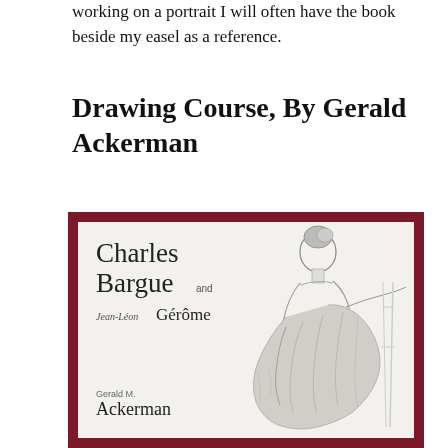working on a portrait I will often have the book beside my easel as a reference.
Drawing Course, By Gerald Ackerman
[Figure (illustration): Book cover of 'Charles Bargue and Jean-Léon Gérôme Drawing Course' by Gerald M. Ackerman. Dark red/maroon border with a light background. Features a pencil drawing of a figure seen from behind, draped in cloth, leaning toward an easel. Text on cover reads: 'Charles Bargue and Jean-Léon Gérôme' and 'Gerald M. Ackerman'.]